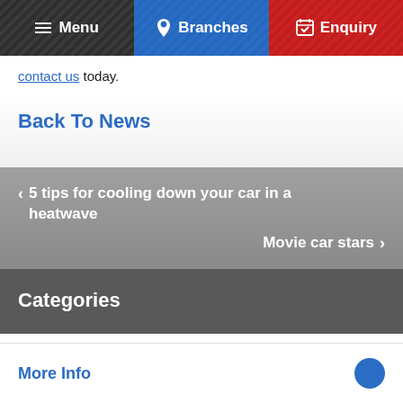Menu | Branches | Enquiry
contact us today.
Back To News
< 5 tips for cooling down your car in a heatwave
Movie car stars >
Categories
More Info